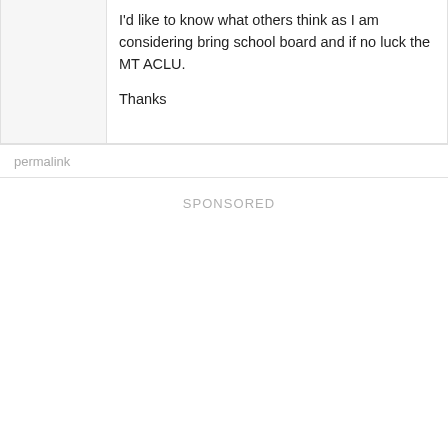I'd like to know what others think as I am considering bring school board and if no luck the MT ACLU.
Thanks
permalink
SPONSORED